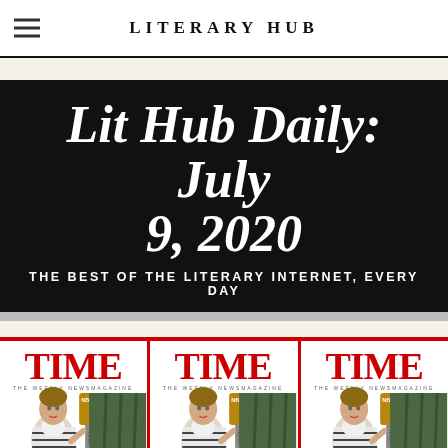LITERARY HUB
Lit Hub Daily: July 9, 2020
THE BEST OF THE LITERARY INTERNET, EVERY DAY
[Figure (photo): Three identical TIME magazine covers side by side, each showing a woman speaking at an NBC microphone. The covers have a red border frame. TIME logo in red at top, subtitle 'THE WEEKLY NEWSMAGAZINE' below.]